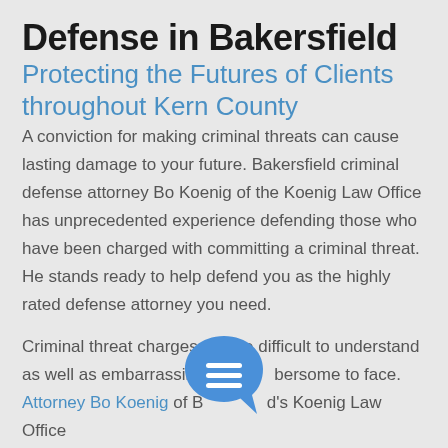Defense in Bakersfield
Protecting the Futures of Clients throughout Kern County
A conviction for making criminal threats can cause lasting damage to your future. Bakersfield criminal defense attorney Bo Koenig of the Koenig Law Office has unprecedented experience defending those who have been charged with committing a criminal threat. He stands ready to help defend you as the highly rated defense attorney you need.
Criminal threat charges can be difficult to understand as well as embarrassing and cumbersome to face. Attorney Bo Koenig of Bakersfield's Koenig Law Office